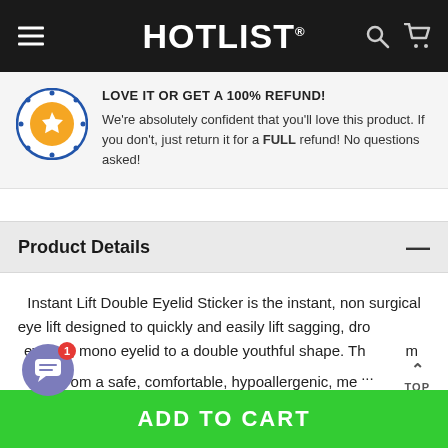HOTLIST®
LOVE IT OR GET A 100% REFUND! We're absolutely confident that you'll love this product. If you don't, just return it for a FULL refund! No questions asked!
Product Details
Instant Lift Double Eyelid Sticker is the instant, non surgical eye lift designed to quickly and easily lift sagging, drooping eyelids, mono eyelid to a double youthful shape. Th... m... om a safe, comfortable, hypoallergenic, me...